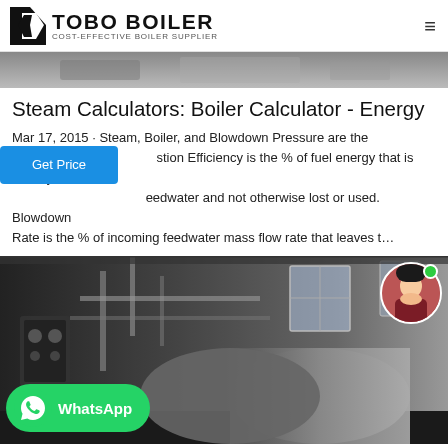TOBO BOILER COST-EFFECTIVE BOILER SUPPLIER
[Figure (photo): Top partial photo of industrial boiler equipment, gray tones]
Steam Calculators: Boiler Calculator - Energy
Mar 17, 2015 · Steam, Boiler, and Blowdown Pressure are the stion Efficiency is the % of fuel energy that is directly eedwater and not otherwise lost or used. Blowdown Rate is the % of incoming feedwater mass flow rate that leaves t…
[Figure (photo): Industrial boiler room interior with large cylindrical boiler, pipes, windows, and equipment]
[Figure (photo): WhatsApp contact button overlay on the boiler photo]